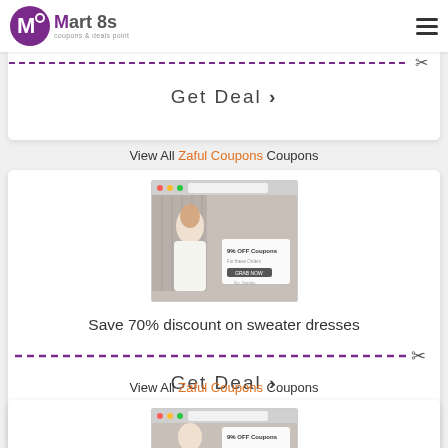Mart 8s coupons & deals point
Get Deal »
View All Zaful Coupons Coupons
[Figure (screenshot): Screenshot of Zaful website showing a woman in a white sweater top with floral pants and a 9% OFF Coupons overlay]
Save 70% discount on sweater dresses
Get Deal »
View All Zaful Coupons Coupons
[Figure (screenshot): Partial screenshot of Zaful website showing another coupon offer]